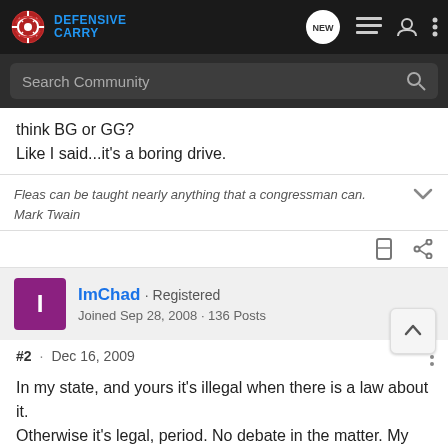Defensive Carry
think BG or GG?
Like I said...it's a boring drive.
Fleas can be taught nearly anything that a congressman can.
Mark Twain
ImChad · Registered
Joined Sep 28, 2008 · 136 Posts
#2 · Dec 16, 2009
In my state, and yours it's illegal when there is a law about it. Otherwise it's legal, period. No debate in the matter. My license